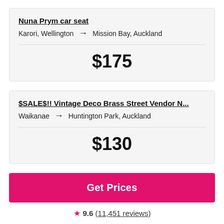Nuna Prym car seat
Karori, Wellington → Mission Bay, Auckland
$175
$SALE$!! Vintage Deco Brass Street Vendor N...
Waikanae → Huntington Park, Auckland
$130
Get Prices
9.6 (11,451 reviews)